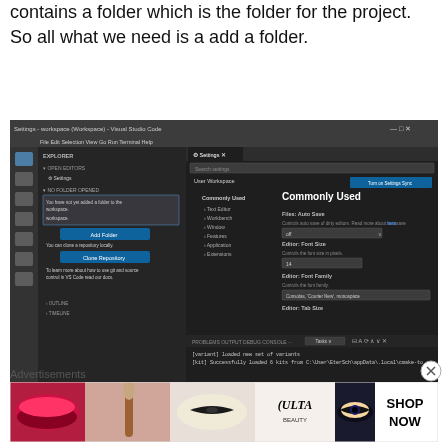contains a folder which is the folder for the project. So all what we need is a add a folder.
[Figure (screenshot): Visual Studio Code screenshot showing Explorer panel with no folder opened, Add Folder and Clone Repository buttons, and Settings panel open on the right with Commonly Used settings including Files Auto Save, Editor Font Size (14), Editor Font Family (Consolas, Courier New, monospace), and Editor Tab Size. Terminal panel at bottom shows cmake output.]
Advertisements
[Figure (photo): Ulta Beauty advertisement banner showing cosmetics/makeup images with SHOP NOW text]